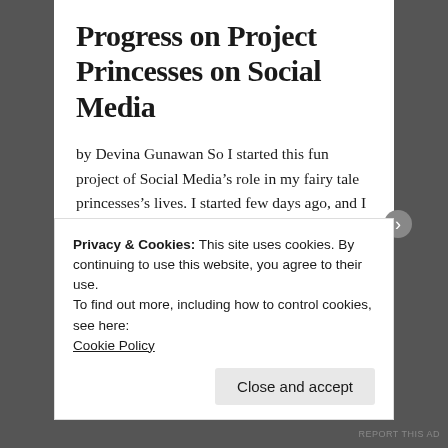Progress on Project Princesses on Social Media
by Devina Gunawan So I started this fun project of Social Media’s role in my fairy tale princesses’s lives. I started few days ago, and I was so thrilled when I found the Instagram template that I could use for this. Truthfully, I got a little bit addicted. If that’s not obvious enough. It’s so…
July 3, 2015 in Art, Daily Ironic Posts.
Privacy & Cookies: This site uses cookies. By continuing to use this website, you agree to their use.
To find out more, including how to control cookies, see here:
Cookie Policy